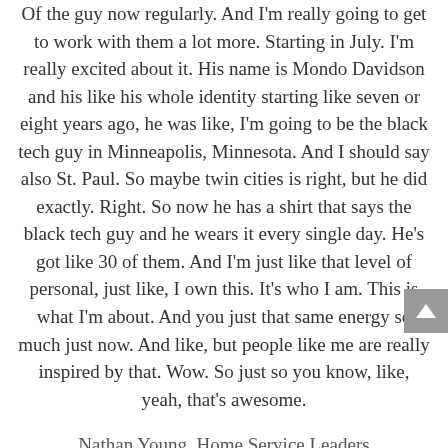Of the guy now regularly. And I'm really going to get to work with them a lot more. Starting in July. I'm really excited about it. His name is Mondo Davidson and his like his whole identity starting like seven or eight years ago, he was like, I'm going to be the black tech guy in Minneapolis, Minnesota. And I should say also St. Paul. So maybe twin cities is right, but he did exactly. Right. So now he has a shirt that says the black tech guy and he wears it every single day. He's got like 30 of them. And I'm just like that level of personal, just like, I own this. It's who I am. This is what I'm about. And you just that same energy so much just now. And like, but people like me are really inspired by that. Wow. So just so you know, like, yeah, that's awesome.
Nathan Young, Home Service Leaders (00:35:03):
I love that. I mean, it's one of my favorite things about him and just like hearing you say that again, just now,